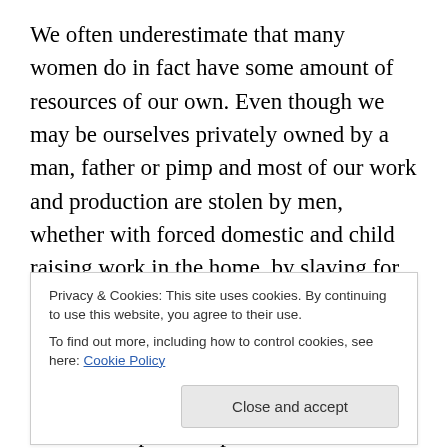We often underestimate that many women do in fact have some amount of resources of our own. Even though we may be ourselves privately owned by a man, father or pimp and most of our work and production are stolen by men, whether with forced domestic and child raising work in the home, by slaving for husbands or other males of the family to sustain their businesses, the constant extra burdens of unpaid chores required from women in paid jobs or when men steal and exploit the products of our intelligence, findings, inventions, genius and creativity at work – many of us still manage to earn something of our
Privacy & Cookies: This site uses cookies. By continuing to use this website, you agree to their use.
To find out more, including how to control cookies, see here: Cookie Policy
a flat, house, land, or we may have inherited of a bit of